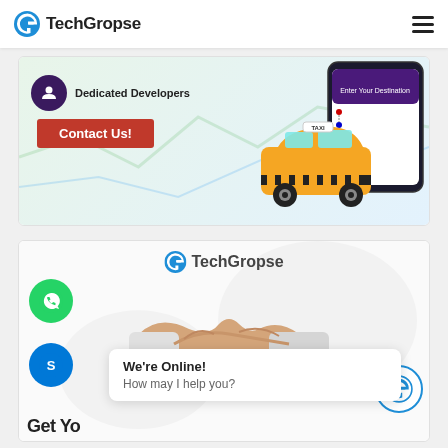TechGropse
[Figure (illustration): TechGropse website screenshot showing a banner with 'Dedicated Developers', 'Contact Us!' button in red, and a yellow taxi illustration on the right side with a ride-booking app UI]
[Figure (illustration): TechGropse website card showing TechGropse logo, handshake illustration, WhatsApp and Skype contact buttons, 'We're Online! How may I help you?' chat popup, and partial 'Get Yo...d' text at bottom]